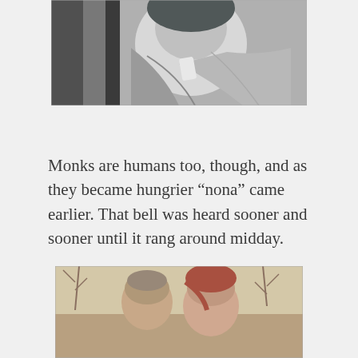[Figure (photo): Black and white close-up photograph of a person, partially cropped, showing face and draped fabric/clothing]
Monks are humans too, though, and as they became hungrier “nona” came earlier. That bell was heard sooner and sooner until it rang around midday.
[Figure (photo): Color photograph of two people outdoors with bare trees in the background]